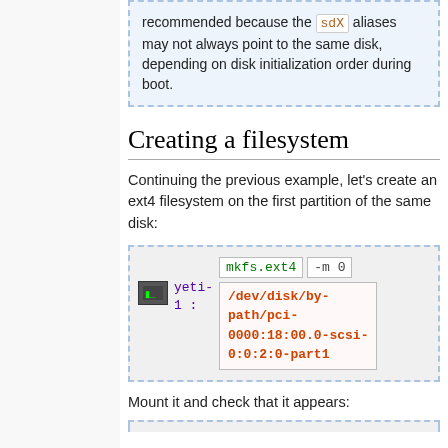recommended because the sdX aliases may not always point to the same disk, depending on disk initialization order during boot.
Creating a filesystem
Continuing the previous example, let's create an ext4 filesystem on the first partition of the same disk:
[Figure (screenshot): Terminal command box showing: mkfs.ext4 -m 0 /dev/disk/by-path/pci-0000:18:00.0-scsi-0:0:2:0-part1 with prompt yeti-1:]
Mount it and check that it appears: